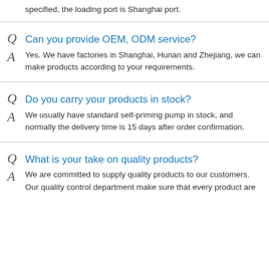specified, the loading port is Shanghai port.
Can you provide OEM, ODM service?
Yes. We have factories in Shanghai, Hunan and Zhejiang, we can make products according to your requirements.
Do you carry your products in stock?
We usually have standard self-priming pump in stock, and normally the delivery time is 15 days after order confirmation.
What is your take on quality products?
We are committed to supply quality products to our customers. Our quality control department make sure that every product are